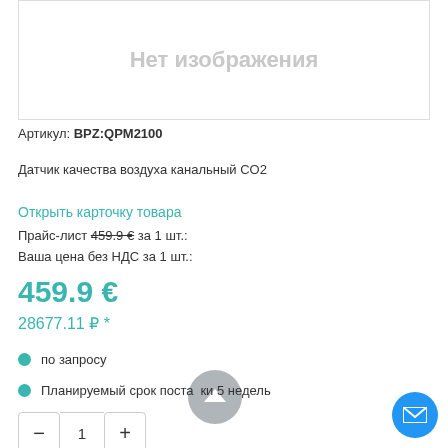[Figure (other): Product image placeholder with text 'Нет изображения' (No image) in grey on white background with border]
Артикул: BPZ:QPM2100
Датчик качества воздуха канальный CO2
Открыть карточку товара
Прайс-лист 459.9 € за 1 шт.:
Ваша цена без НДС за 1 шт.:
459.9 €
28677.11 ₽ *
по запросу
Планируемый срок поставки 5 недель